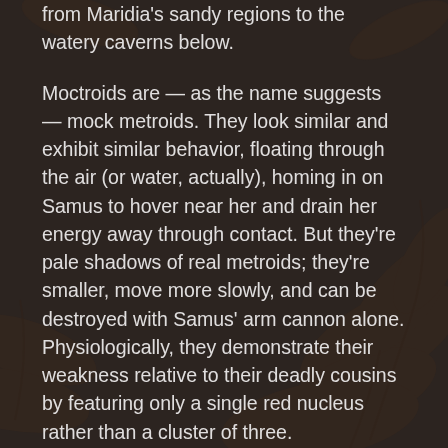from Maridia's sandy regions to the watery caverns below.
Moctroids are — as the name suggests — mock metroids. They look similar and exhibit similar behavior, floating through the air (or water, actually), homing in on Samus to hover near her and drain her energy away through contact. But they're pale shadows of real metroids; they're smaller, move more slowly, and can be destroyed with Samus' arm cannon alone. Physiologically, they demonstrate their weakness relative to their deadly cousins by featuring only a single red nucleus rather than a cluster of three.
Like everything else in Super Metroid, the existence